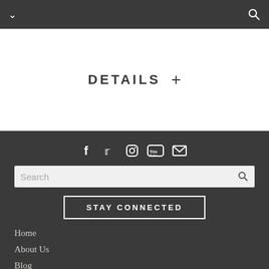Navigation bar with chevron and search icon
DETAILS +
[Figure (infographic): Social media icons row: Facebook, Twitter, Instagram, YouTube, Email]
Search
STAY CONNECTED
Home
About Us
Blog
Planners Only